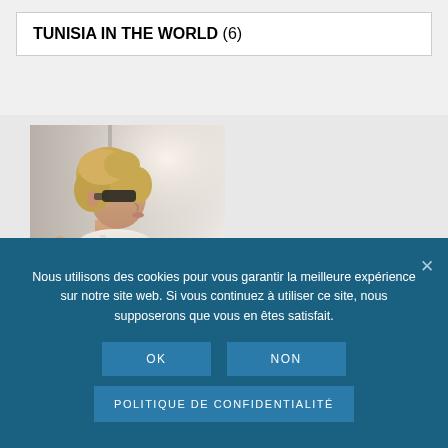TUNISIA IN THE WORLD (6)
[Figure (photo): A woman with blonde wavy hair and sunglasses, wearing a white top, photographed from the side against a bright background]
Nous utilisons des cookies pour vous garantir la meilleure expérience sur notre site web. Si vous continuez à utiliser ce site, nous supposerons que vous en êtes satisfait.
OK
NON
POLITIQUE DE CONFIDENTIALITÉ